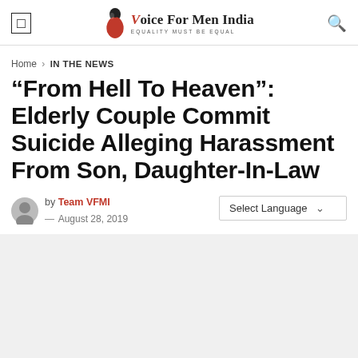Voice For Men India — EQUALITY MUST BE EQUAL
Home › IN THE NEWS
“From Hell To Heaven”: Elderly Couple Commit Suicide Alleging Harassment From Son, Daughter-In-Law
by Team VFMI — August 28, 2019